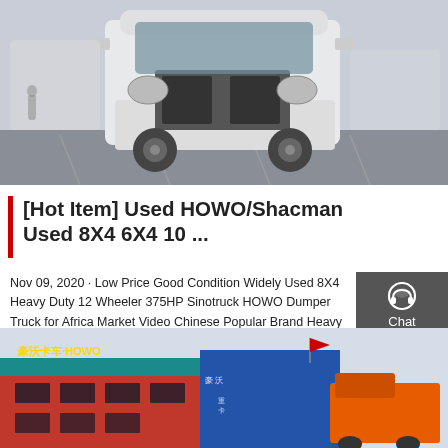[Figure (photo): White HOWO/Shacman heavy duty trucks parked in a lot, front view at low angle]
[Hot Item] Used HOWO/Shacman Used 8X4 6X4 10 ...
Nov 09, 2020 · Low Price Good Condition Widely Used 8X4 Heavy Duty 12 Wheeler 375HP Sinotruck HOWO Dumper Truck for Africa Market Video Chinese Popular Brand Heavy Duty Used 351-450HP 10 Wheels 6X4 Sinotruck HOWO Tipper Truck for Sale
Get a Quote
[Figure (photo): HOWO truck dealership building exterior with red and blue signage showing Chinese characters and HOWO branding, with orange dump trucks visible]